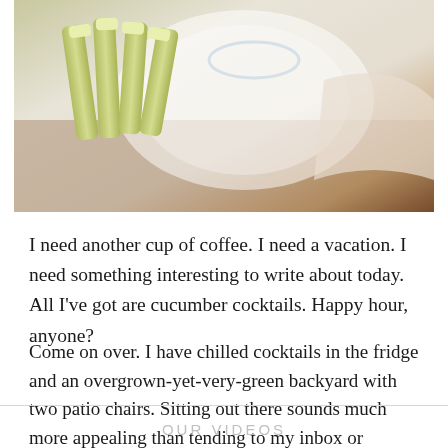[Figure (photo): A close-up photo of cucumber sticks on a white plate with a glass, napkin, and wooden surface.]
I need another cup of coffee. I need a vacation. I need something interesting to write about today. All I've got are cucumber cocktails. Happy hour, anyone?
Come on over. I have chilled cocktails in the fridge and an overgrown-yet-very-green backyard with two patio chairs. Sitting out there sounds much more appealing than tending to my inbox or addressing the technical difficulties that never.stop.coming.
OUR VIDEOS